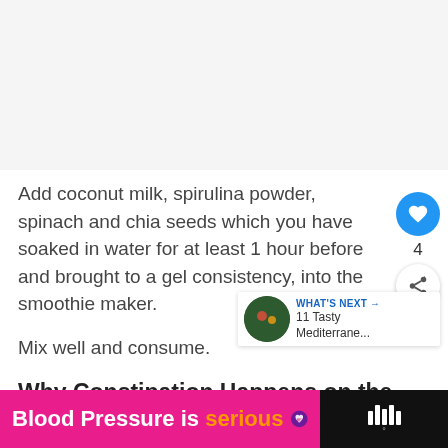[Figure (photo): Light gray/white image area at top of page]
Add coconut milk, spirulina powder, spinach and chia seeds which you have soaked in water for at least 1 hour before and brought to a gel consistency, into the smoothie maker.
Mix well and consume.
Why Constipation Happens on the Ketogenic Diet
Th... t or us.
[Figure (infographic): Blood Pressure is serious advertisement banner — pink background with white bold text and orange word 'serious', purple heart icon, dark right section with W logo]